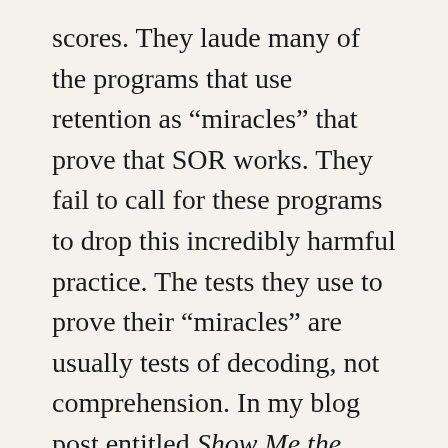scores. They laude many of the programs that use retention as “miracles” that prove that SOR works. They fail to call for these programs to drop this incredibly harmful practice. The tests they use to prove their “miracles” are usually tests of decoding, not comprehension. In my blog post entitled Show Me the Beef, I called on them to provide multiple examples of district-wide studies using full comprehension tests, not decoding tests LINK. So far, they’ve not done this. They are getting laws passed that allow their model AND ONLY THEIR MODEL to be used. This strips away the rights of school districts to be the best judge of what will work with their kids. See other parts of this post to